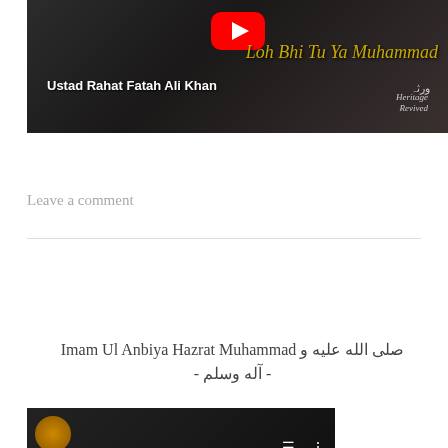[Figure (screenshot): YouTube video thumbnail for 'Loh Bhi Tu Ya Muhammad' by Ustad Rahat Fatah Ali Khan, with YouTube play button icon, gold italic title text, white artist name, and Heritage Revived logo in Arabic and English]
Leave a comment
صلى الله عليه و Imam Ul Anbiya Hazrat Muhammad - آله وسلم -
[Figure (screenshot): YouTube video thumbnail for 'Imam Ul Anbiya' with dark background, circular profile icon, and menu/dots icons]